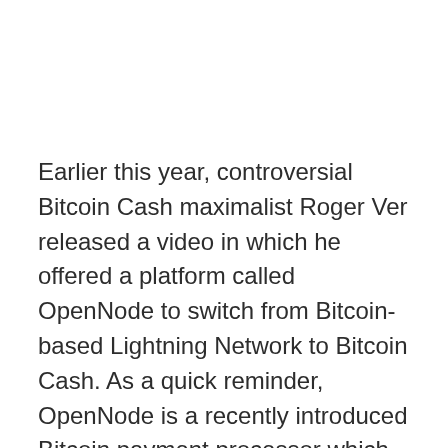Earlier this year, controversial Bitcoin Cash maximalist Roger Ver released a video in which he offered a platform called OpenNode to switch from Bitcoin-based Lightning Network to Bitcoin Cash. As a quick reminder, OpenNode is a recently introduced Bitcoin payment processor which looks to leverage the LN capabilities to enable instant Bitcoin transactions with minimal fees.
Tim Draper, a well-known venture capital investor had recently invested 1,25 million into